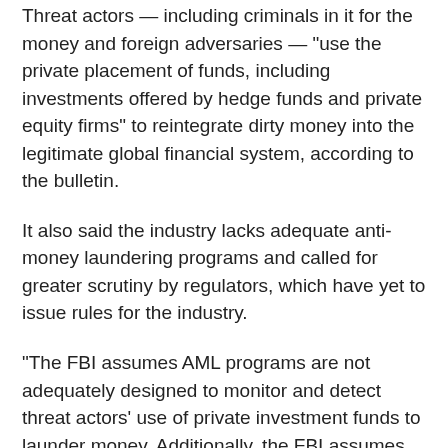Threat actors — including criminals in it for the money and foreign adversaries — “use the private placement of funds, including investments offered by hedge funds and private equity firms” to reintegrate dirty money into the legitimate global financial system, according to the bulletin.
It also said the industry lacks adequate anti-money laundering programs and called for greater scrutiny by regulators, which have yet to issue rules for the industry.
“The FBI assumes AML programs are not adequately designed to monitor and detect threat actors’ use of private investment funds to launder money. Additionally, the FBI assumes threat actors exploit this vulnerability to integrate illicit proceeds into the licit global financial system,” it said.